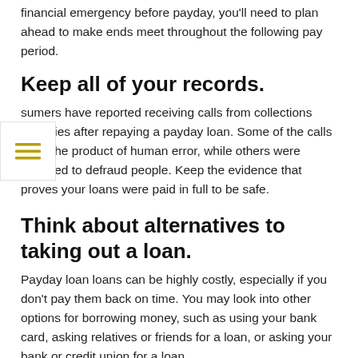financial emergency before payday, you'll need to plan ahead to make ends meet throughout the following pay period.
Keep all of your records.
Consumers have reported receiving calls from collections agencies after repaying a payday loan. Some of the calls were the product of human error, while others were intended to defraud people. Keep the evidence that proves your loans were paid in full to be safe.
Think about alternatives to taking out a loan.
Payday loan loans can be highly costly, especially if you don't pay them back on time. You may look into other options for borrowing money, such as using your bank card, asking relatives or friends for a loan, or asking your bank or credit union for a loan.